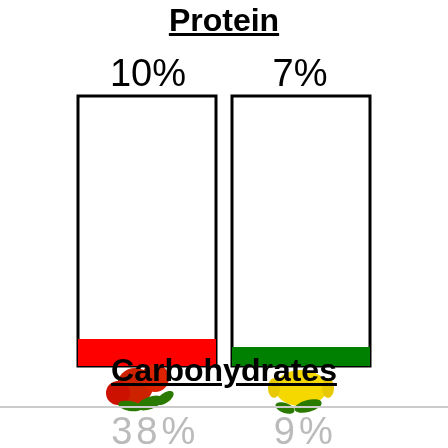Protein
[Figure (bar-chart): Protein]
Carbohydrates
38%   9%